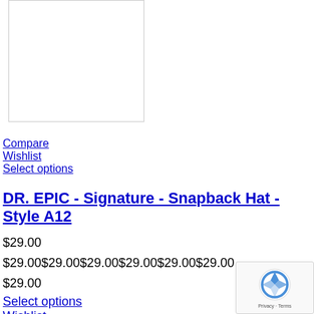[Figure (other): Product image placeholder box (white rectangle with border)]
Compare
Wishlist
Select options
DR. EPIC - Signature - Snapback Hat - Style A12
$29.00
$29.00$29.00$29.00$29.00$29.00$29.00
$29.00
Select options
Wishlist
Compare
[Figure (other): Partial product image at bottom of page]